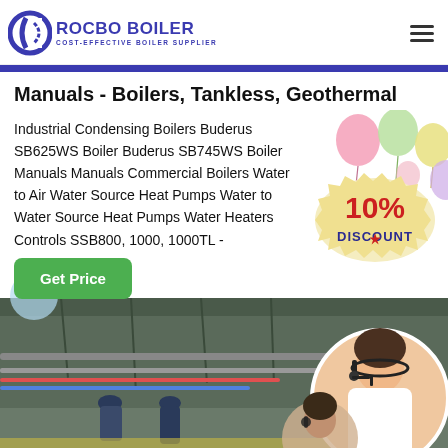[Figure (logo): Rocbo Boiler logo with circular C icon and text 'ROCBO BOILER - COST-EFFECTIVE BOILER SUPPLIER' in dark blue/purple]
Manuals - Boilers, Tankless, Geothermal
Industrial Condensing Boilers Buderus SB625WS Boiler Buderus SB745WS Boiler Manuals Manuals Commercial Boilers Water to Air Water Source Heat Pumps Water to Water Source Heat Pumps Water Heaters Controls SSB800, 1000, 1000TL -
[Figure (infographic): 10% DISCOUNT badge/stamp in red and cream colors]
[Figure (illustration): Colorful balloons decoration in background (pink, green, yellow, purple)]
[Figure (photo): Industrial boiler room interior with pipes and workers, plus customer service representative with headset in circular frame overlay]
Get Price